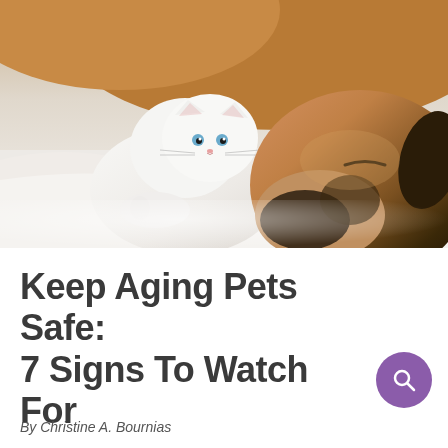[Figure (photo): A white cat with blue eyes and a tan/brown dog with black markings lying together on white bedding, resting their heads close together]
Keep Aging Pets Safe: 7 Signs To Watch For
By Christine A. Bournias